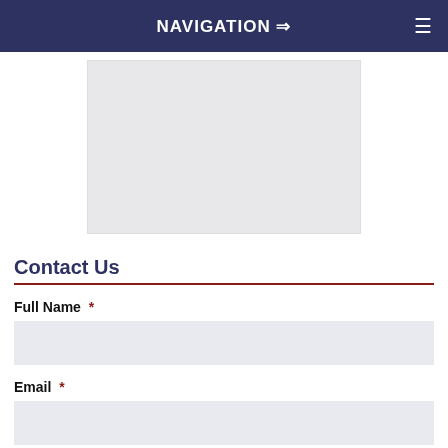NAVIGATION →
[Figure (other): Gray placeholder image/banner area, light gray background with subtle border]
Contact Us
Full Name *
Email *
Phone *